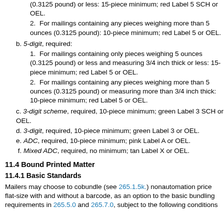(0.3125 pound) or less: 15-piece minimum; red Label 5 SCH or OEL.
2. For mailings containing any pieces weighing more than 5 ounces (0.3125 pound): 10-piece minimum; red Label 5 or OEL.
b. 5-digit, required:
1. For mailings containing only pieces weighing 5 ounces (0.3125 pound) or less and measuring 3/4 inch thick or less: 15-piece minimum; red Label 5 or OEL.
2. For mailings containing any pieces weighing more than 5 ounces (0.3125 pound) or measuring more than 3/4 inch thick: 10-piece minimum; red Label 5 or OEL.
c. 3-digit scheme, required, 10-piece minimum; green Label 3 SCH or OEL.
d. 3-digit, required, 10-piece minimum; green Label 3 or OEL.
e. ADC, required, 10-piece minimum; pink Label A or OEL.
f. Mixed ADC, required, no minimum; tan Label X or OEL.
11.4 Bound Printed Matter
11.4.1 Basic Standards
Mailers may choose to cobundle (see 265.1.5k.) nonautomation price flat-size with and without a barcode, as an option to the basic bundling requirements in 265.5.0 and 265.7.0, subject to the following conditions